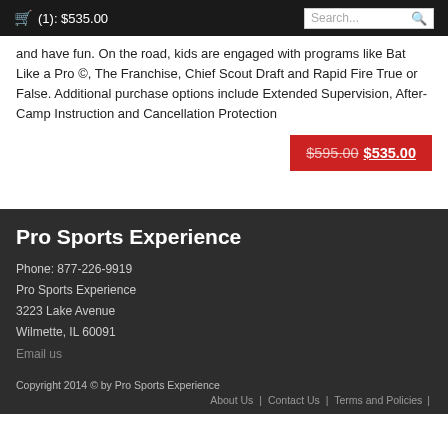(1): $535.00  Search...
and have fun. On the road, kids are engaged with programs like Bat Like a Pro ©, The Franchise, Chief Scout Draft and Rapid Fire True or False. Additional purchase options include Extended Supervision, After-Camp Instruction and Cancellation Protection
$595.00 $535.00
Pro Sports Experience
Phone: 877-226-9919
Pro Sports Experience
3223 Lake Avenue
Wilmette, IL 60091
Email us
Copyright 2014 © by Pro Sports Experience
About Us | Contact Us | Terms and Policies |